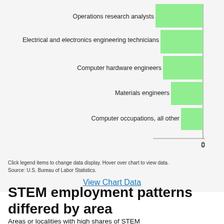[Figure (bar-chart): ]
Click legend items to change data display. Hover over chart to view data.
Source: U.S. Bureau of Labor Statistics.
View Chart Data
STEM employment patterns differed by area
Areas or localities with high shares of STEM